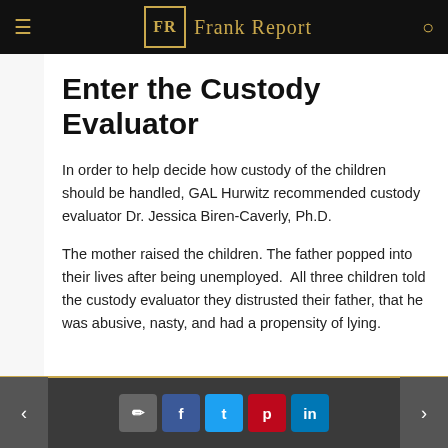FR Frank Report
Enter the Custody Evaluator
In order to help decide how custody of the children should be handled, GAL Hurwitz recommended custody evaluator Dr. Jessica Biren-Caverly, Ph.D.
The mother raised the children. The father popped into their lives after being unemployed.  All three children told the custody evaluator they distrusted their father, that he was abusive, nasty, and had a propensity of lying.
< comment f t p in >